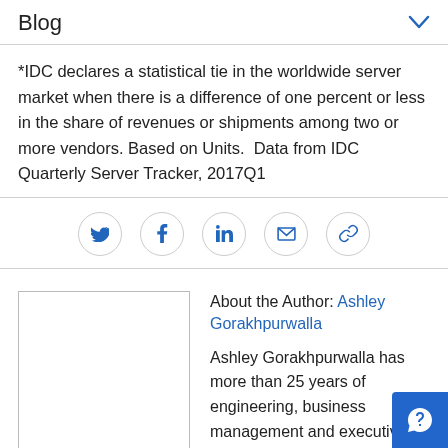Blog
*IDC declares a statistical tie in the worldwide server market when there is a difference of one percent or less in the share of revenues or shipments among two or more vendors. Based on Units.  Data from IDC Quarterly Server Tracker, 2017Q1
[Figure (infographic): Social sharing icons: Twitter, Facebook, LinkedIn, Email, Link]
About the Author: Ashley Gorakhpurwalla
Ashley Gorakhpurwalla has more than 25 years of engineering, business management and executive leaders